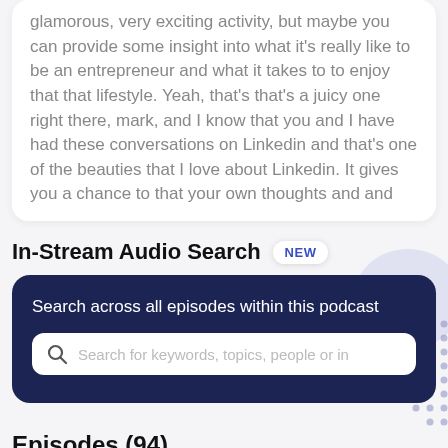glamorous, very exciting activity, but maybe you can provide some insight into what it's really like to be an entrepreneur and what it takes to to enjoy that that lifestyle. Yeah, that's that's a juicy one right there, mark, and I know that you and I have had these conversations on Linkedin and that's one of the beauties that I love about Linkedin. It gives you a chance to that your own thoughts and and
In-Stream Audio Search NEW
Search across all episodes within this podcast
Search for keywords, topics, people or in
Episodes (94)